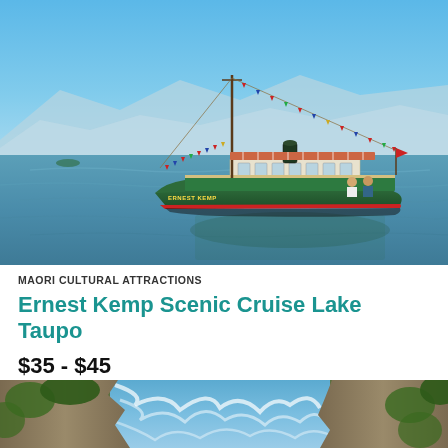[Figure (photo): Green vintage steam vessel named Ernest Kemp decorated with colorful triangular bunting flags, floating on blue lake water with mountains in background on a sunny day]
MAORI CULTURAL ATTRACTIONS
Ernest Kemp Scenic Cruise Lake Taupo
$35 - $45
[Figure (photo): Rushing blue-white river rapids flowing through a rocky gorge with green vegetation on the sides]